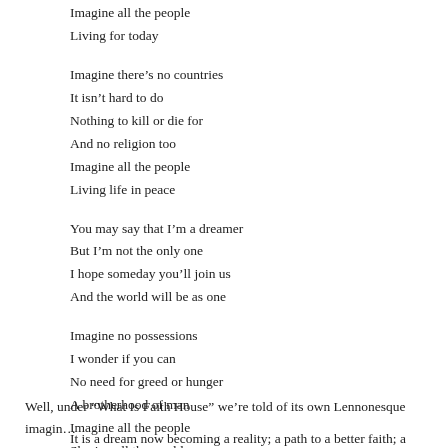Imagine all the people
Living for today
Imagine there's no countries
It isn't hard to do
Nothing to kill or die for
And no religion too
Imagine all the people
Living life in peace
You may say that I'm a dreamer
But I'm not the only one
I hope someday you'll join us
And the world will be as one
Imagine no possessions
I wonder if you can
No need for greed or hunger
A brotherhood of man
Imagine all the people
Sharing all the world
Well, under “What Is Faith House” we’re told of its own Lennonesque imagin…
It is a dream now becoming a reality; a path to a better faith; a journey…